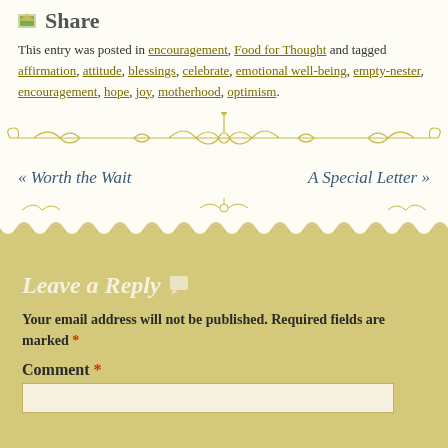Share
This entry was posted in encouragement, Food for Thought and tagged affirmation, attitude, blessings, celebrate, emotional well-being, empty-nester, encouragement, hope, joy, motherhood, optimism.
[Figure (illustration): Decorative ornamental divider with golden scroll and floral motif on light background]
« Worth the Wait    A Special Letter »
[Figure (illustration): Decorative wave/scallop divider transitioning from light background to golden/tan background with scroll motifs]
Leave a Reply
Your email address will not be published. Required fields are marked *
Comment *